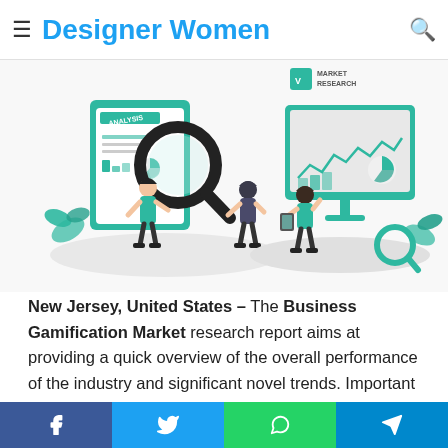Designer Women
[Figure (illustration): Market research illustration showing two scenes: a person with a magnifying glass over an analysis document with charts, and a person presenting data on a large screen/monitor. Teal/green color scheme. VMR Market Research logo in top right.]
New Jersey, United States – The Business Gamification Market research report aims at providing a quick overview of the overall performance of the industry and significant novel trends. Important insights, as well as findings, latest